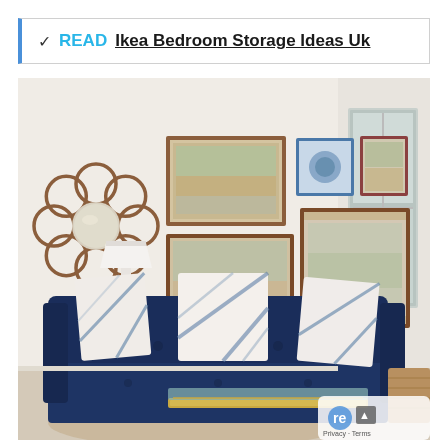✓ READ Ikea Bedroom Storage Ideas Uk
[Figure (photo): Interior living room photo showing a navy blue tufted velvet sofa with white geometric patterned throw pillows, a white teardrop table lamp on a wood folding side table, a circular rattan sunburst mirror on the left wall, and a gallery wall of four framed Indian miniature paintings above the sofa. A large window is visible on the right. A gold coffee table and wicker basket are partially visible at the bottom.]